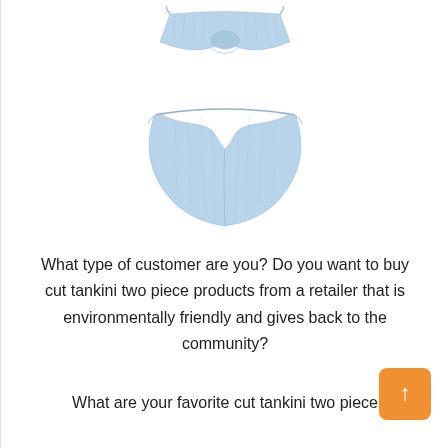[Figure (illustration): Light blue ribbed cut tankini two-piece swimsuit. Top piece is a bandeau/crop style with a twist/cutout detail. Bottom piece is high-cut bikini briefs. Both in pale blue ribbed fabric on white background.]
What type of customer are you? Do you want to buy cut tankini two piece products from a retailer that is environmentally friendly and gives back to the community?
What are your favorite cut tankini two piece products? Do you want to buy them online, but